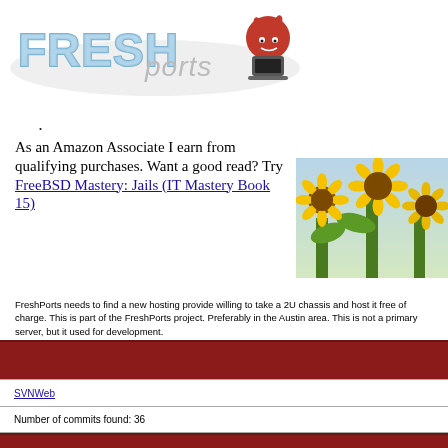[Figure (logo): FreshPorts logo with stylized text and BSD devil mascot]
As an Amazon Associate I earn from qualifying purchases. Want a good read? Try FreeBSD Mastery: Jails (IT Mastery Book 15)
[Figure (photo): Photo of sunflowers in a field]
FreshPorts needs to find a new hosting provide willing to take a 2U chassis and host it free of charge. This is part of the FreshPorts project. Preferably in the Austin area. This is not a primary server, but it used for development.
non port: devel/p5-Devel-CheckLib/Makefile
SVNWeb
Number of commits found: 36
Wed, 20 Jul 2022